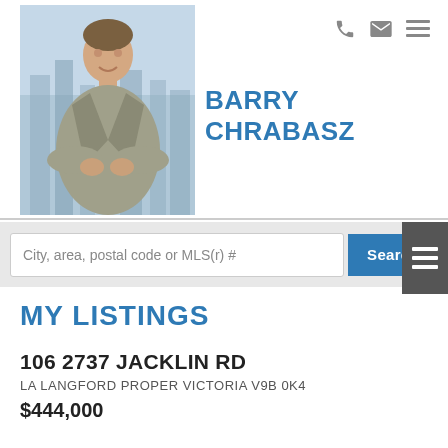[Figure (photo): Professional headshot of Barry Chrabasz, a man in a grey suit with arms crossed, standing in front of a city skyline backdrop]
BARRY CHRABASZ
City, area, postal code or MLS(r) #
MY LISTINGS
106 2737 JACKLIN RD
LA LANGFORD PROPER VICTORIA V9B 0K4
$444,000